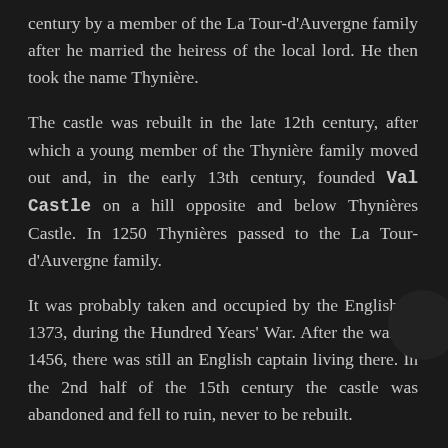century by a member of the La Tour-d'Auvergne family after he married the heiress of the local lord. He then took the name Thynière.
The castle was rebuilt in the late 12th century, after which a young member of the Thynière family moved out and, in the early 13th century, founded Val Castle on a hill opposite and below Thynières Castle. In 1250 Thynières passed to the La Tour-d'Auvergne family.
It was probably taken and occupied by the English in 1373, during the Hundred Years' War. After the war, in 1456, there was still an English captain living there. In the 2nd half of the 15th century the castle was abandoned and fell to ruin, never to be rebuilt.
The ruined castle stayed in the hands of the La